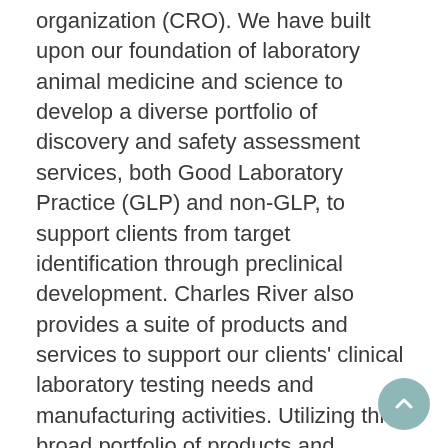organization (CRO). We have built upon our foundation of laboratory animal medicine and science to develop a diverse portfolio of discovery and safety assessment services, both Good Laboratory Practice (GLP) and non-GLP, to support clients from target identification through preclinical development. Charles River also provides a suite of products and services to support our clients' clinical laboratory testing needs and manufacturing activities. Utilizing this broad portfolio of products and services enables our clients to create a more flexible drug development model, which reduces their costs, enhances their productivity and effectiveness to increase speed to market.
With over 18,000 employees within 100 facilities in over 20 countries around the globe, we are strategically positioned to coordinate worldwide resources and apply multidisciplinary perspectives in resolving our client's unique challenges. Our client base includes global